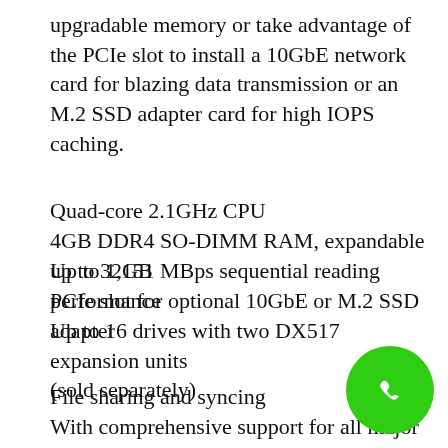upgradable memory or take advantage of the PCIe slot to install a 10GbE network card for blazing data transmission or an M.2 SSD adapter card for high IOPS caching.
Quad-core 2.1GHz CPU
4GB DDR4 SO-DIMM RAM, expandable up to 32GB
Up to 1,151 MBps sequential reading performance
PCIe slot for optional 10GbE or M.2 SSD adapter
Up to 16 drives with two DX517 expansion units (sold separately)
File sharing and syncing
With comprehensive support for all major file sharing protocols — like CIFS, AFP, NFS, FTP, and more — DiskStation lets you centralize files in one